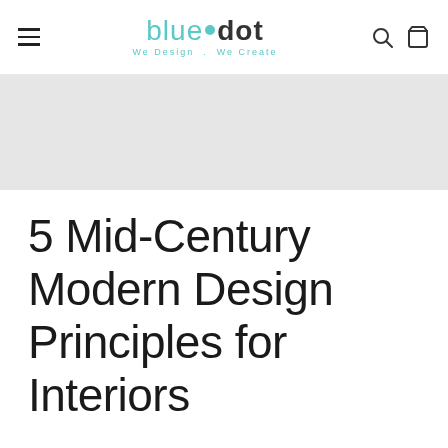blue dot — We Design . We Create
[Figure (other): Grey placeholder banner image area]
5 Mid-Century Modern Design Principles for Interiors